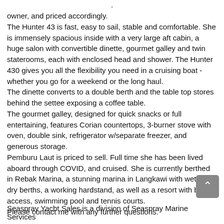owner, and priced accordingly. The Hunter 43 is fast, easy to sail, stable and comfortable. She is immensely spacious inside with a very large aft cabin, a huge salon with convertible dinette, gourmet galley and twin staterooms, each with enclosed head and shower. The Hunter 430 gives you all the flexibility you need in a cruising boat - whether you go for a weekend or the long haul. The dinette converts to a double berth and the table top stores behind the settee exposing a coffee table. The gourmet galley, designed for quick snacks or full entertaining, features Corian countertops, 3-burner stove with oven, double sink, refrigerator w/separate freezer, and generous storage. Pemburu Laut is priced to sell. Full time she has been lived aboard through COVID, and cruised. She is currently berthed in Rebak Marina, a stunning marina in Langkawi with wet and dry berths, a working hardstand, as well as a resort with beach access, swimming pool and tennis courts. Please contact me with any further questions.
Seaspray Yacht Sales is a division of Seaspray Marine Services